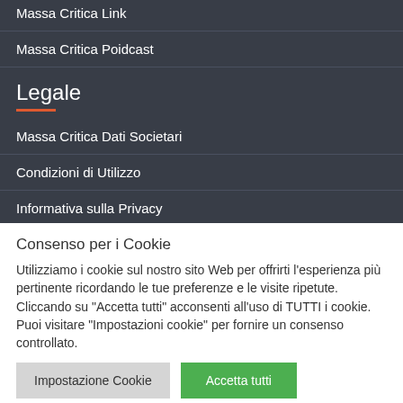Massa Critica Link
Massa Critica Poidcast
Legale
Massa Critica Dati Societari
Condizioni di Utilizzo
Informativa sulla Privacy
Consenso per i Cookie
Utilizziamo i cookie sul nostro sito Web per offrirti l'esperienza più pertinente ricordando le tue preferenze e le visite ripetute. Cliccando su "Accetta tutti" acconsenti all'uso di TUTTI i cookie. Puoi visitare "Impostazioni cookie" per fornire un consenso controllato.
Impostazione Cookie | Accetta tutti